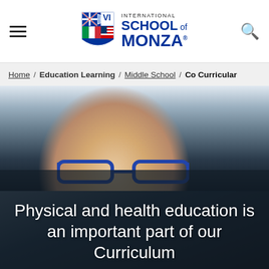[Figure (logo): International School of Monza logo with crest/shield emblem]
Home / Education Learning / Middle School / Co Curricular
[Figure (photo): Young student with blue glasses smiling, seated in classroom]
Physical and health education is an important part of our Curriculum